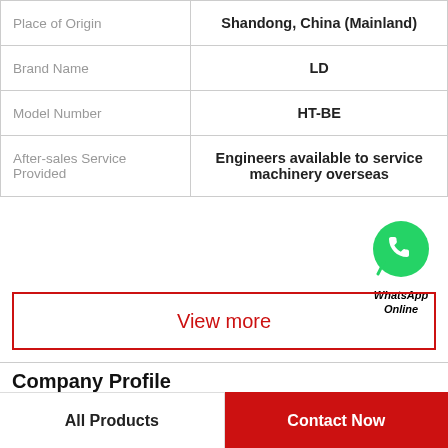| Attribute | Value |
| --- | --- |
| Place of Origin | Shandong, China (Mainland) |
| Brand Name | LD |
| Model Number | HT-BE |
| After-sales Service Provided | Engineers available to service machinery overseas |
[Figure (logo): WhatsApp green phone bubble icon with WhatsApp Online label]
View more
Company Profile
Industrial Microwave Systems Co Ltd.
All Products | Contact Now